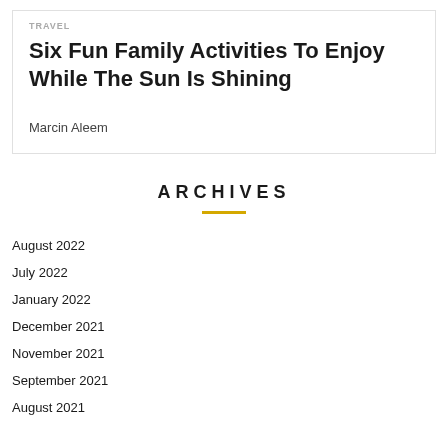TRAVEL
Six Fun Family Activities To Enjoy While The Sun Is Shining
Marcin Aleem
ARCHIVES
August 2022
July 2022
January 2022
December 2021
November 2021
September 2021
August 2021